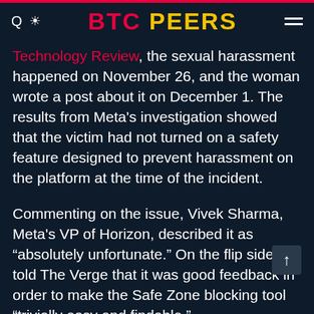BTC PEERS
Technology Review, the sexual harassment happened on November 26, and the woman wrote a post about it on December 1. The results from Meta's investigation showed that the victim had not turned on a safety feature designed to prevent harassment on the platform at the time of the incident.
Commenting on the issue, Vivek Sharma, Meta's VP of Horizon, described it as “absolutely unfortunate.” On the flip side, he told The Verge that it was good feedback in order to make the Safe Zone blocking tool “trivially easy and findable.”
Once activated, the Safe Zone feature stops other